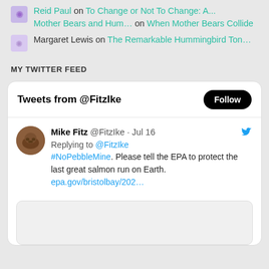Reid Paul on To Change or Not To Change: A... Mother Bears and Hum... on When Mother Bears Collide
Margaret Lewis on The Remarkable Hummingbird Ton...
MY TWITTER FEED
[Figure (screenshot): Twitter widget showing Tweets from @FitzIke with a Follow button, and a tweet by Mike Fitz @FitzIke dated Jul 16 replying to @FitzIke: #NoPebbleMine. Please tell the EPA to protect the last great salmon run on Earth. epa.gov/bristolbay/202...]